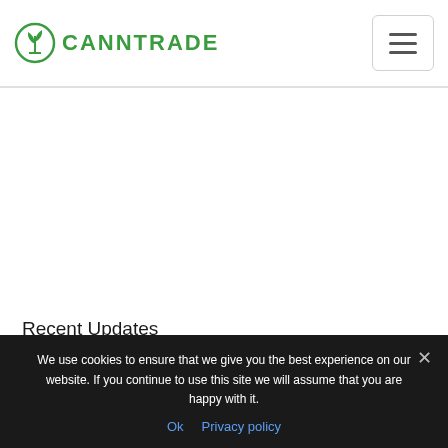CannTrade
Recent Updates
Update 3.0 “The Hemp Markets Beta Release”
Platform Update 2.7 “Bulk Sales Conversations”
Update 2.6 “Watches & Supply Request”
“Supply Chain Tracking & Account Merging” Update
We use cookies to ensure that we give you the best experience on our website. If you continue to use this site we will assume that you are happy with it.
Ok   Privacy policy